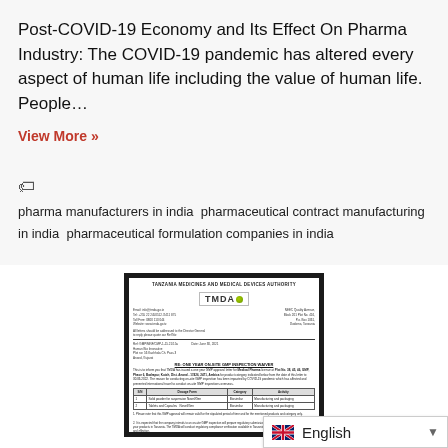Post-COVID-19 Economy and Its Effect On Pharma Industry: The COVID-19 pandemic has altered every aspect of human life including the value of human life. People…
View More »
pharma manufacturers in india pharmaceutical contract manufacturing in india pharmaceutical formulation companies in india
[Figure (other): Scanned document from Tanzania Medicines and Medical Devices Authority (TMDA) showing a one-year on-site GMP inspection waiver letter with a table listing product categories and activities.]
English